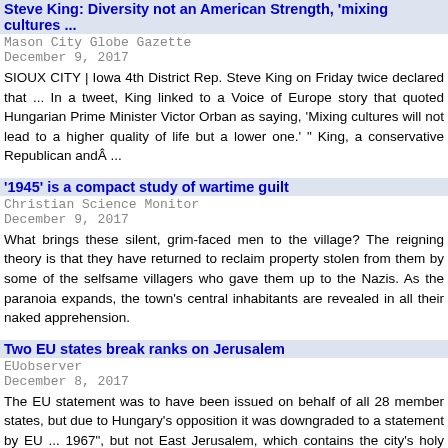Steve King: Diversity not an American Strength, 'mixing cultures ...
Mason City Globe Gazette
December 9, 2017
SIOUX CITY | Iowa 4th District Rep. Steve King on Friday twice declared that ... In a tweet, King linked to a Voice of Europe story that quoted Hungarian Prime Minister Victor Orban as saying, 'Mixing cultures will not lead to a higher quality of life but a lower one.' " King, a conservative Republican andÂ ...
'1945' is a compact study of wartime guilt
Christian Science Monitor
December 9, 2017
What brings these silent, grim-faced men to the village? The reigning theory is that they have returned to reclaim property stolen from them by some of the selfsame villagers who gave them up to the Nazis. As the paranoia expands, the town's central inhabitants are revealed in all their naked apprehension.
Two EU states break ranks on Jerusalem
EUobserver
December 8, 2017
The EU statement was to have been issued on behalf of all 28 member states, but due to Hungary's opposition it was downgraded to a statement by EU ... 1967", but not East Jerusalem, which contains the city's holy sites and which Israel is meant to share with Palestine according to EU